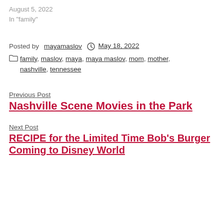August 5, 2022
In "family"
Posted by mayamaslov   May 18, 2022
Categories: family, maslov, maya, maya maslov, mom, mother, nashville, tennessee
Previous Post
Nashville Scene Movies in the Park
Next Post
RECIPE for the Limited Time Bob's Burger Coming to Disney World